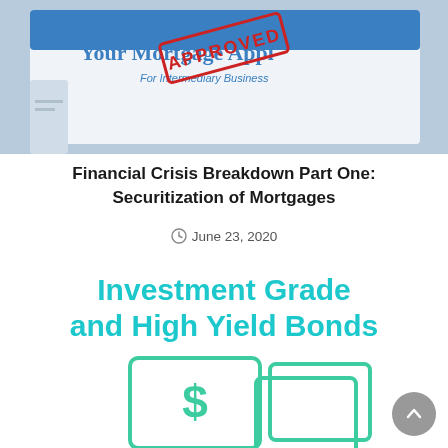[Figure (photo): Mortgage approval document with red APPROVED stamp and text 'Your Mortgage Application For Intermediary Business' on a blue background]
Financial Crisis Breakdown Part One: Securitization of Mortgages
June 23, 2020
[Figure (infographic): Infographic with bold cyan text 'Investment Grade and High Yield Bonds' and a green outline dollar sign / money illustration below]